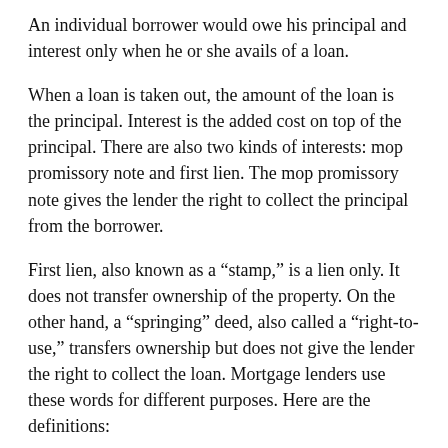An individual borrower would owe his principal and interest only when he or she avails of a loan.
When a loan is taken out, the amount of the loan is the principal. Interest is the added cost on top of the principal. There are also two kinds of interests: mop promissory note and first lien. The mop promissory note gives the lender the right to collect the principal from the borrower.
First lien, also known as a “stamp,” is a lien only. It does not transfer ownership of the property. On the other hand, a “springing” deed, also called a “right-to-use,” transfers ownership but does not give the lender the right to collect the loan. Mortgage lenders use these words for different purposes. Here are the definitions:
Mortgage lien (1) This type of loan gives borrowers the